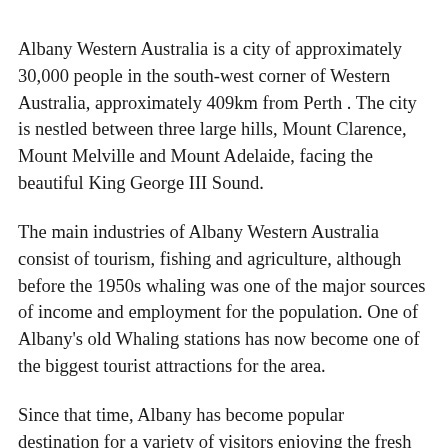Albany Western Australia is a city of approximately 30,000 people in the south-west corner of Western Australia, approximately 409km from Perth . The city is nestled between three large hills, Mount Clarence, Mount Melville and Mount Adelaide, facing the beautiful King George III Sound.
The main industries of Albany Western Australia consist of tourism, fishing and agriculture, although before the 1950s whaling was one of the major sources of income and employment for the population. One of Albany's old Whaling stations has now become one of the biggest tourist attractions for the area.
Since that time, Albany has become popular destination for a variety of visitors enjoying the fresh air, clean beaches,